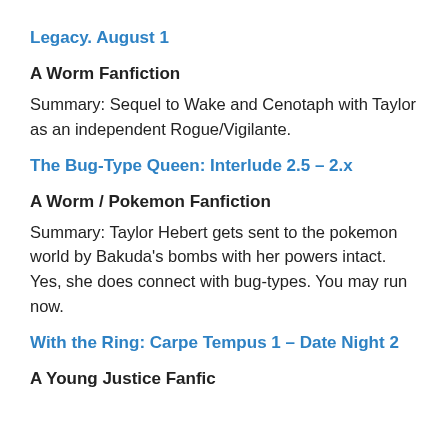Legacy. August 1
A Worm Fanfiction
Summary: Sequel to Wake and Cenotaph with Taylor as an independent Rogue/Vigilante.
The Bug-Type Queen: Interlude 2.5 – 2.x
A Worm / Pokemon Fanfiction
Summary: Taylor Hebert gets sent to the pokemon world by Bakuda's bombs with her powers intact.  Yes, she does connect with bug-types. You may run now.
With the Ring: Carpe Tempus 1 – Date Night 2
A Young Justice Fanfic